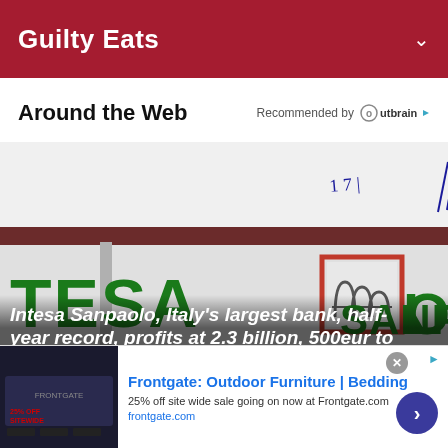Guilty Eats
Around the Web
Recommended by Outbrain
[Figure (photo): Photo of Intesa Sanpaolo bank signage with handwritten annotations overlay. Shows the green TESA and SANPAOL letters on white building facade with red-bordered logo. Handwritten blue ink markings and numbers visible in upper portion.]
Intesa Sanpaolo, Italy's largest bank, half-year record, profits at 2.3 billion, 500eur to...
Frontgate: Outdoor Furniture | Bedding
25% off site wide sale going on now at Frontgate.com
frontgate.com